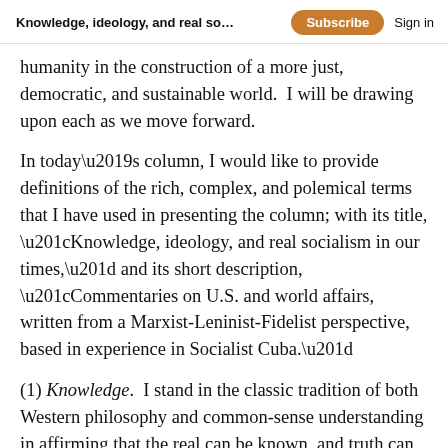Knowledge, ideology, and real socialism ...   Subscribe   Sign in
humanity in the construction of a more just, democratic, and sustainable world.  I will be drawing upon each as we move forward.
In today’s column, I would like to provide definitions of the rich, complex, and polemical terms that I have used in presenting the column; with its title, “Knowledge, ideology, and real socialism in our times,” and its short description, “Commentaries on U.S. and world affairs, written from a Marxist-Leninist-Fidelist perspective, based in experience in Socialist Cuba.”
(1) Knowledge.  I stand in the classic tradition of both Western philosophy and common-sense understanding in affirming that the real can be known, and truth can